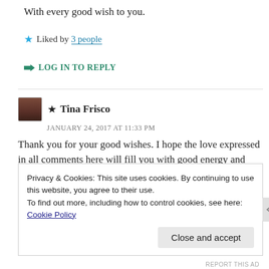With every good wish to you.
★ Liked by 3 people
➦ LOG IN TO REPLY
★ Tina Frisco
JANUARY 24, 2017 AT 11:33 PM
Thank you for your good wishes. I hope the love expressed in all comments here will fill you with good energy and lighten and brighten you day ❤
Privacy & Cookies: This site uses cookies. By continuing to use this website, you agree to their use.
To find out more, including how to control cookies, see here: Cookie Policy
Close and accept